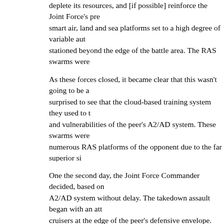deplete its resources, and [if possible] reinforce the Joint Force's pre smart air, land and sea platforms set to a high degree of variable aut stationed beyond the edge of the battle area. The RAS swarms were opposition's defense systems relied upon for strike guidance. This hypersonic missiles at the Joint Force assault. However, when these destroy. The second wave sent by the defense system was compos RAS platforms, manufactured in large volume over the last two decad
As these forces closed, it became clear that this wasn't going to be a surprised to see that the cloud-based training system they used to t and vulnerabilities of the peer's A2/AD system. These swarms were numerous RAS platforms of the opponent due to the far superior si deployed against them. The swarms that did make it through did run knock out a dozen Joint Force drones before it was taken out of actic was limited to this this mobile laser. This allowed the surviving drone
One the second day, the Joint Force Commander decided, based on A2/AD system without delay. The takedown assault began with an att cruisers at the edge of the peer's defensive envelope. These missil local situation and adopt the appropriate tactics during the handful o and they were able to take out the mobile RAS lasers that had been s sprang into action. Cyber weapons forced the systems they had per munitions transports, crippling resupply efforts. In few short hours, Force and Navy continuous monitoring by flights of man/machine tea